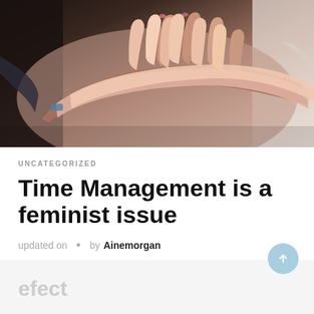[Figure (photo): Multiple hands stacked together in a team gesture, close-up photo showing diverse skin tones and clothing, warm tones]
UNCATEGORIZED
Time Management is a feminist issue
updated on • by Ainemorgan